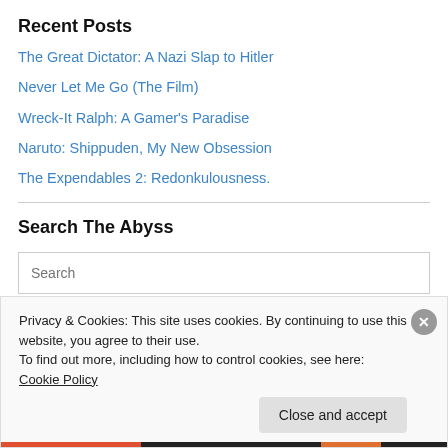Recent Posts
The Great Dictator: A Nazi Slap to Hitler
Never Let Me Go (The Film)
Wreck-It Ralph: A Gamer's Paradise
Naruto: Shippuden, My New Obsession
The Expendables 2: Redonkulousness.
Search The Abyss
Search
Privacy & Cookies: This site uses cookies. By continuing to use this website, you agree to their use.
To find out more, including how to control cookies, see here: Cookie Policy
Close and accept